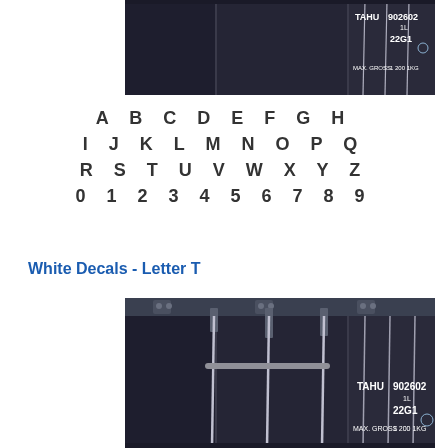[Figure (photo): Dark shipping containers with white text markings: TAHU 902602, 22G1, MAX GROSS, 1200 1KG]
A B C D E F G H
I J K L M N O P Q
R S T U V W X Y Z
0 1 2 3 4 5 6 7 8 9
White Decals - Letter T
[Figure (photo): Dark shipping containers with locking rods and white text markings: TAHU 902602, 22G1, MAX GROSS, 1200 1KG]